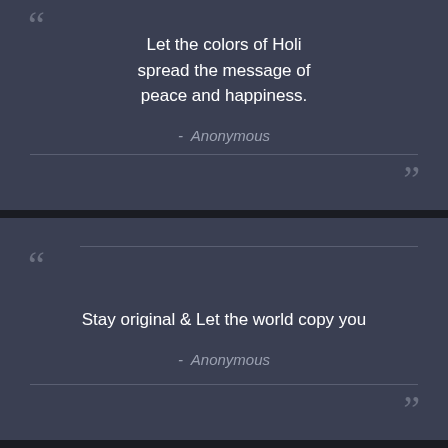““ Let the colors of Holi spread the message of peace and happiness. - Anonymous ””
““ Stay original & Let the world copy you - Anonymous ””